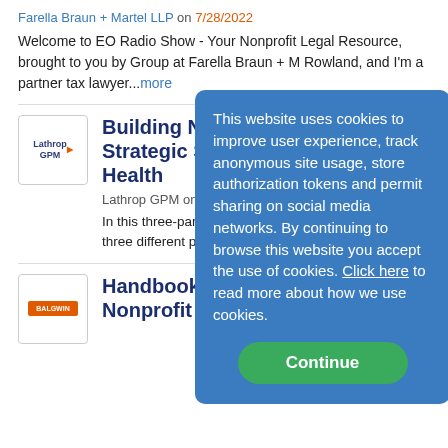Farella Braun + Martel LLP on 7/28/2022
Welcome to EO Radio Show - Your Nonprofit Legal Resource, brought to you by Group at Farella Braun + M Rowland, and I'm a partner tax lawyer...more
[Figure (logo): Lathrop GPM logo in a bordered box]
Building Nonpro Strategic Steps Health
Lathrop GPM on 7/28/2022
In this three-part series, we nonprofits can take to build three different phases of its health, when initially experi
[Figure (logo): Orange rectangle logo in a bordered box]
Handbook for Directors of Nonprofit Corporations in the
This website uses cookies to improve user experience, track anonymous site usage, store authorization tokens and permit sharing on social media networks. By continuing to browse this website you accept the use of cookies. Click here to read more about how we use cookies. Continue